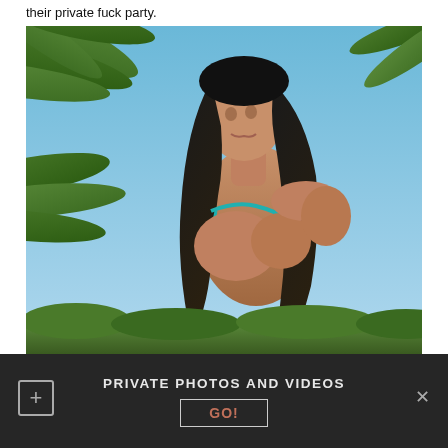their private fuck party.
[Figure (photo): Woman with long dark hair wearing a teal bikini top, photographed outdoors against a blue sky with palm leaves in the background.]
PRIVATE PHOTOS AND VIDEOS
GO!